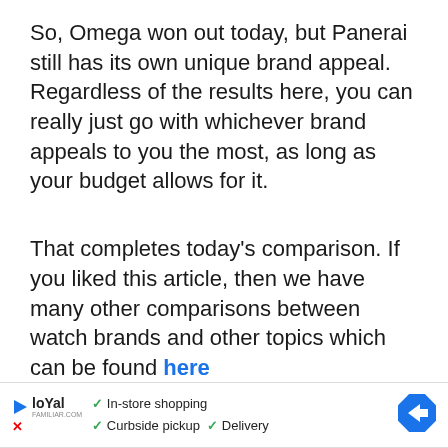So, Omega won out today, but Panerai still has its own unique brand appeal. Regardless of the results here, you can really just go with whichever brand appeals to you the most, as long as your budget allows for it.
That completes today's comparison. If you liked this article, then we have many other comparisons between watch brands and other topics which can be found here
Please follow and like us:
[Figure (other): Social media buttons row: Follow (green), Like (dark blue), Share (Facebook blue), Tweet (Twitter blue), Save (Pinterest red)]
[Figure (other): Advertisement bar: Loyal logo with play button, checkmarks for In-store shopping, Curbside pickup, Delivery, and a blue navigation arrow]